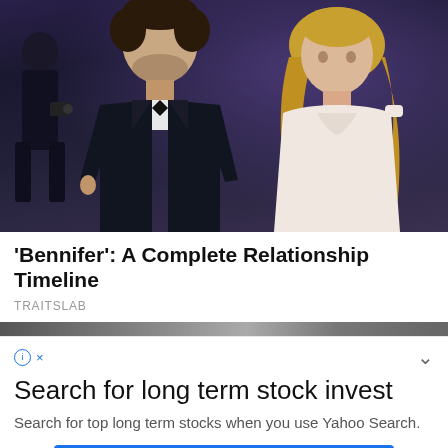[Figure (photo): A man in a black tuxedo with bow tie and a woman in a white low-cut dress with diamond necklace, standing together at what appears to be a red carpet or formal event, with a purple/dark background]
'Bennifer': A Complete Relationship Timeline
TRAITSLAB
[Figure (screenshot): Partial image strip visible behind ad overlay]
Search for long term stock invest
Search for top long term stocks when you use Yahoo Search.
continue